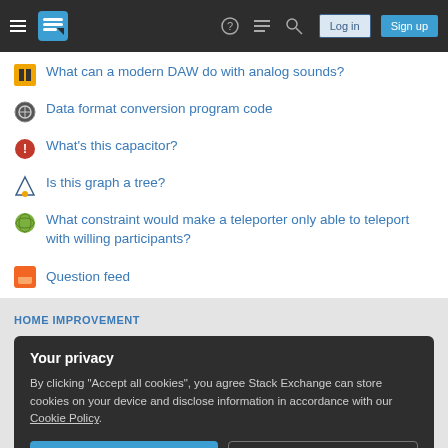Stack Exchange navigation bar with Log in and Sign up buttons
What can a modern DAW do with analog sounds?
Data format conversion program code
What's this capacitor?
Is this graph a tree?
What constraint would make a teleporter only able to teleport with willing participants?
Question feed
HOME IMPROVEMENT
Your privacy
By clicking "Accept all cookies", you agree Stack Exchange can store cookies on your device and disclose information in accordance with our Cookie Policy.
Accept all cookies | Customize settings
Technology  Culture & recreation  Life & arts  Science  Professional